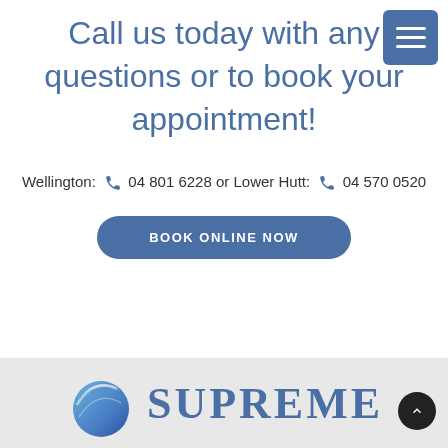Call us today with any questions or to book your appointment!
Wellington: 📞 04 801 6228 or Lower Hutt: 📞 04 570 0520
BOOK ONLINE NOW
[Figure (logo): Supreme logo with globe/sphere icon and the word SUPREME in blue serif font on a grey background]